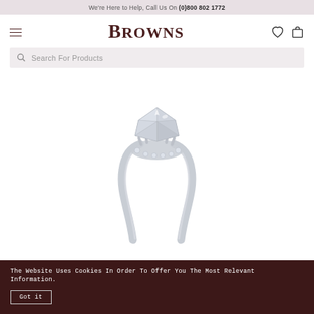We're Here to Help, Call Us On (0)800 802 1772
BROWNS
Search For Products
[Figure (photo): A diamond engagement ring with a cushion-cut center stone set in a pavé halo mount on a white gold solitaire band, photographed against a white background.]
The Website Uses Cookies In Order To Offer You The Most Relevant Information.